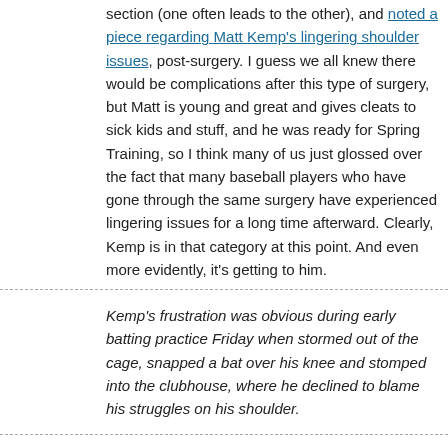section (one often leads to the other), and noted a piece regarding Matt Kemp's lingering shoulder issues, post-surgery. I guess we all knew there would be complications after this type of surgery, but Matt is young and great and gives cleats to sick kids and stuff, and he was ready for Spring Training, so I think many of us just glossed over the fact that many baseball players who have gone through the same surgery have experienced lingering issues for a long time afterward. Clearly, Kemp is in that category at this point. And even more evidently, it's getting to him.
Kemp's frustration was obvious during early batting practice Friday when stormed out of the cage, snapped a bat over his knee and stomped into the clubhouse, where he declined to blame his struggles on his shoulder.
The article goes into detail about how Kemp can't extend at the end of his swing, and the type of spin he needs to be getting on the ball, and so forth. The power: gone. Not sure what the solution is, other than time, something the Dodgers are quickly running out of.
Perhaps SoSG softball team should look into this excuse for a lack of offense/power at the next softball tournament. I want to see SoSG Acl break a bat over his knee.